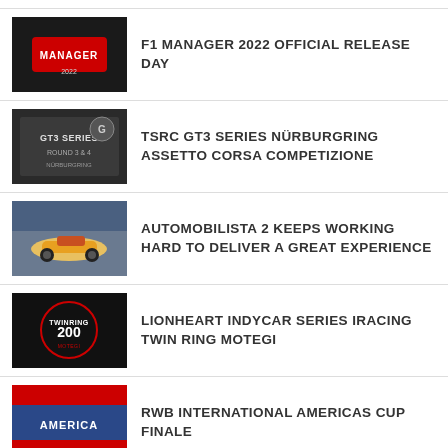F1 MANAGER 2022 OFFICIAL RELEASE DAY
TSRC GT3 SERIES NÜRBURGRING ASSETTO CORSA COMPETIZIONE
AUTOMOBILISTA 2 KEEPS WORKING HARD TO DELIVER A GREAT EXPERIENCE
LIONHEART INDYCAR SERIES IRACING TWIN RING MOTEGI
RWB INTERNATIONAL AMERICAS CUP FINALE